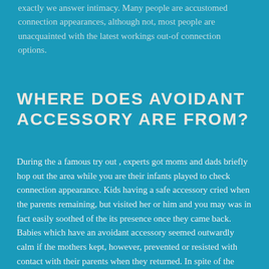exactly we answer intimacy. Many people are accustomed connection appearances, although not, most people are unacquainted with the latest workings out-of connection options.
WHERE DOES AVOIDANT ACCESSORY ARE FROM?
During the a famous try out , experts got moms and dads briefly hop out the area while you are their infants played to check connection appearance. Kids having a safe accessory cried when the parents remaining, but visited her or him and you may was in fact easily soothed of the its presence once they came back. Babies which have an avoidant accessory seemed outwardly calm if the mothers kept, however, prevented or resisted with contact with their parents when they returned. In spite of the